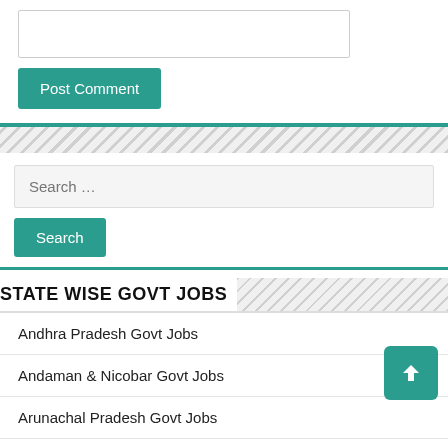[comment input box]
Post Comment
Search ...
Search
STATE WISE GOVT JOBS
Andhra Pradesh Govt Jobs
Andaman & Nicobar Govt Jobs
Arunachal Pradesh Govt Jobs
Assam Govt Jobs
Bihar Govt Jobs